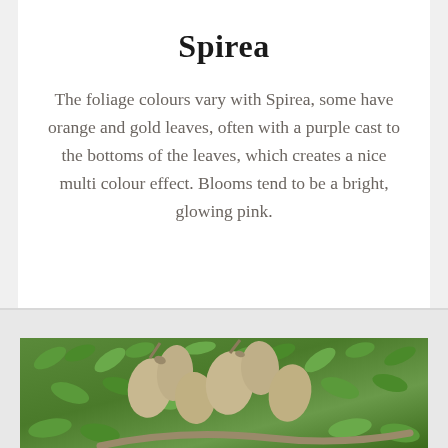Spirea
The foliage colours vary with Spirea, some have orange and gold leaves, often with a purple cast to the bottoms of the leaves, which creates a nice multi colour effect. Blooms tend to be a bright, glowing pink.
[Figure (photo): Close-up photograph of tamarind pods hanging among green feathery leaves. The pods are bulbous and brownish-tan coloured, with dried calyx remnants, surrounded by bright green compound leaves.]